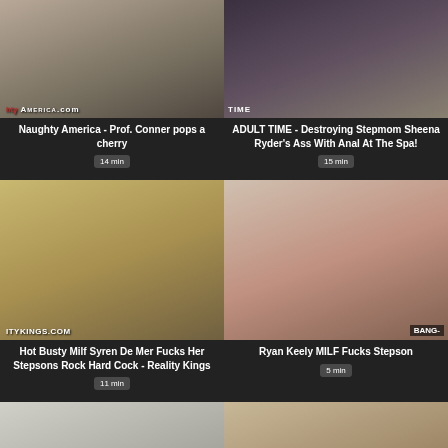[Figure (photo): Thumbnail for Naughty America video with htyamerica.com watermark]
Naughty America - Prof. Conner pops a cherry
14 min
[Figure (photo): Thumbnail for Adult Time video with TIME watermark]
ADULT TIME - Destroying Stepmom Sheena Ryder's Ass With Anal At The Spa!
15 min
[Figure (photo): Thumbnail for Reality Kings video with ITYKINGS.COM watermark]
Hot Busty Milf Syren De Mer Fucks Her Stepsons Rock Hard Cock - Reality Kings
11 min
[Figure (photo): Thumbnail for Bang video with BANG- watermark]
Ryan Keely MILF Fucks Stepson
5 min
[Figure (photo): Partial thumbnail bottom left]
[Figure (photo): Partial thumbnail bottom right]